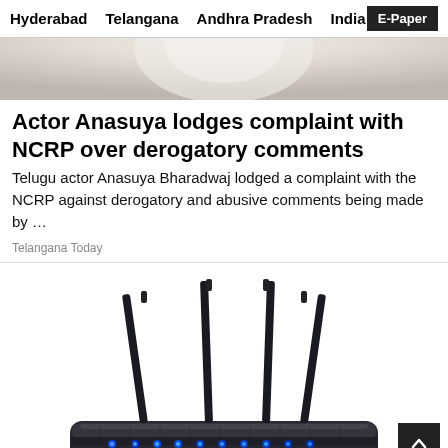Hyderabad  Telangana  Andhra Pradesh  India  E-Paper
[Figure (photo): Cropped photo of a person wearing a white sari/outfit, upper body and shoulders visible]
Actor Anasuya lodges complaint with NCRP over derogatory comments
Telugu actor Anasuya Bharadwaj lodged a complaint with the NCRP against derogatory and abusive comments being made by …
Telangana Today
[Figure (photo): A black wireless router with four tall antennas and blue LED indicator lights on the front panel, shown on a white background]